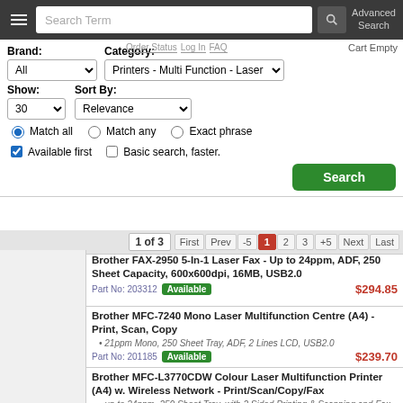Search Term | Advanced Search
Brand: All | Category: Printers - Multi Function - Laser | Order Status  Log In  FAQ  Cart Empty
Show: 30  Sort By: Relevance
Match all  Match any  Exact phrase
Available first  Basic search, faster.
Search
1 of 3  First  Prev  -5  1  2  3  +5  Next  Last
Brother FAX-2950 5-In-1 Laser Fax - Up to 24ppm, ADF, 250 Sheet Capacity, 600x600dpi, 16MB, USB2.0
Part No: 203312  Available  $294.85
Brother MFC-7240 Mono Laser Multifunction Centre (A4) - Print, Scan, Copy
21ppm Mono, 250 Sheet Tray, ADF, 2 Lines LCD, USB2.0
Part No: 201185  Available  $239.70
Brother MFC-L3770CDW Colour Laser Multifunction Printer (A4) w. Wireless Network - Print/Scan/Copy/Fax
up to 24ppm, 250 Sheet Tray, with 2 Sided Printing & Scanning and Fax
Part No: 432281  Available  $652.95
Brother MFC-L5755DW Mono Laser Multi-Function Center Printer (A4) w. Wireless Network - Print/Scan/Copy/Fax